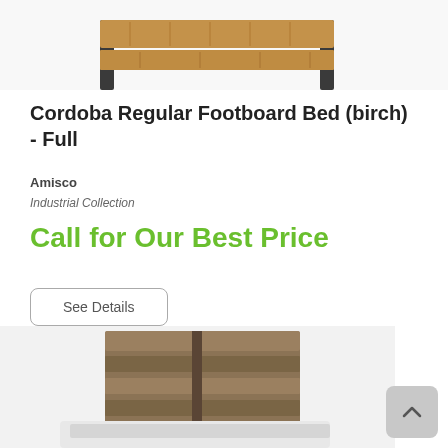[Figure (photo): Partial view of a bed frame (birch wood and metal legs) shown from above, cropped at top of page]
Cordoba Regular Footboard Bed (birch) - Full
Amisco
Industrial Collection
Call for Our Best Price
See Details
[Figure (photo): Partial view of a bed with a wooden slatted headboard and white bedding, cropped at bottom of page]